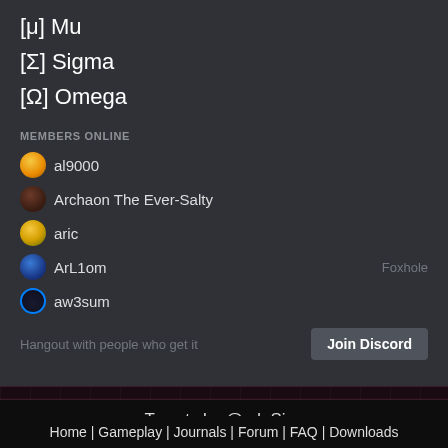[μ] Mu
[Σ] Sigma
[Ω] Omega
MEMBERS ONLINE
al9000
Archaon The Ever-Salty
aric
ArL1om  Foxhole
aw3sum
Hangout with people who get it  Join Discord
Tweets by @sd_Sins
Home | Gameplay | Journals | Forum | FAQ | Downloads